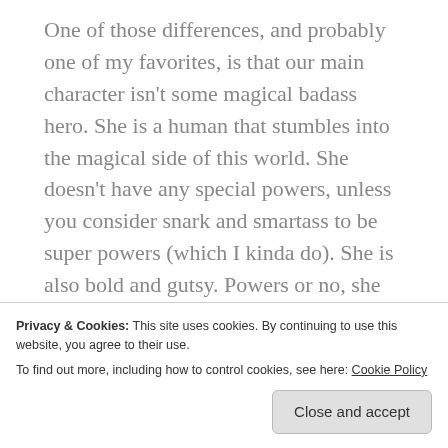One of those differences, and probably one of my favorites, is that our main character isn't some magical badass hero. She is a human that stumbles into the magical side of this world. She doesn't have any special powers, unless you consider snark and smartass to be super powers (which I kinda do). She is also bold and gutsy. Powers or no, she can hold her own, which I really enjoyed.
The guys are also funny, but not class clowns that can't take things seriously, a deadly combination when it comes to character personalities in my
Privacy & Cookies: This site uses cookies. By continuing to use this website, you agree to their use.
To find out more, including how to control cookies, see here: Cookie Policy
that, while there were all kinds of flirty teasing